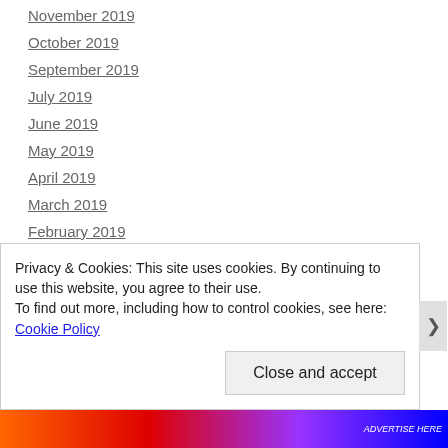November 2019
October 2019
September 2019
July 2019
June 2019
May 2019
April 2019
March 2019
February 2019
January 2019
November 2018
October 2018
September 2018
Privacy & Cookies: This site uses cookies. By continuing to use this website, you agree to their use.
To find out more, including how to control cookies, see here: Cookie Policy
Close and accept